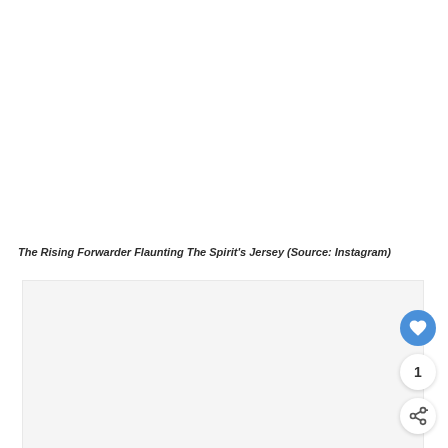[Figure (photo): Top image area - appears blank/white, likely a photo of a player wearing Spirit jersey from Instagram]
The Rising Forwarder Flaunting The Spirit's Jersey (Source: Instagram)
[Figure (photo): Second image area - light gray/white box, likely another photo placeholder]
[Figure (other): Heart/like button (blue circle with heart icon), count button showing '1', and share button with share icon on the right side]